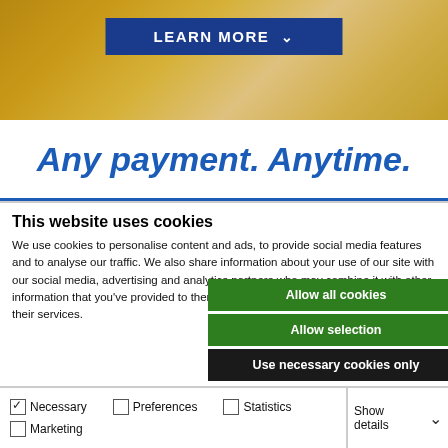[Figure (screenshot): Website banner with warm golden bokeh background and a blue 'LEARN MORE' button with downward arrow chevron]
Any payment. Anytime.
This website uses cookies
We use cookies to personalise content and ads, to provide social media features and to analyse our traffic. We also share information about your use of our site with our social media, advertising and analytics partners who may combine it with other information that you've provided to them or that they've collected from your use of their services.
Allow all cookies
Allow selection
Use necessary cookies only
Necessary  Preferences  Statistics  Marketing  Show details